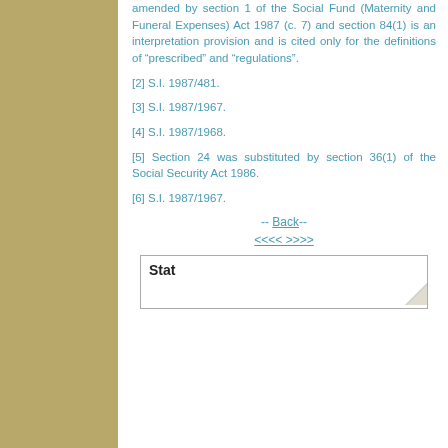amended by section 1 of the Social Fund (Maternity and Funeral Expenses) Act 1987 (c. 7) and section 84(1) is an interpretation provision and is cited only for the definitions of "prescribed" and "regulations".
[2] S.I. 1987/481.
[3] S.I. 1987/1967.
[4] S.I. 1987/1968.
[5] Section 24 was substituted by section 36(1) of the Social Security Act 1986.
[6] S.I. 1987/1967.
-- Back--
<<<< >>>>
Stat